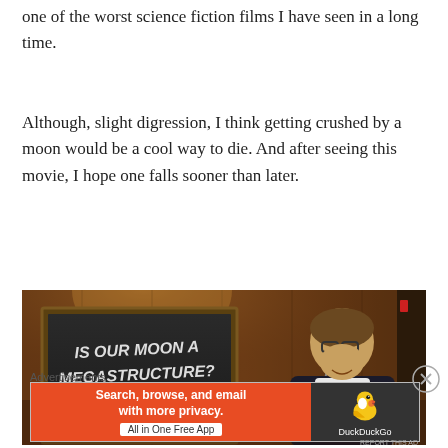one of the worst science fiction films I have seen in a long time.
Although, slight digression, I think getting crushed by a moon would be a cool way to die. And after seeing this movie, I hope one falls sooner than later.
[Figure (photo): A man with glasses standing at a microphone, with a chalkboard behind him reading 'IS OUR MOON A MEGASTRUCTURE?' and smaller text below it. The setting appears to be a dimly lit venue.]
Advertisements
[Figure (infographic): DuckDuckGo advertisement banner: orange left section with 'Search, browse, and email with more privacy. All in One Free App' and dark right section with DuckDuckGo logo and duck icon.]